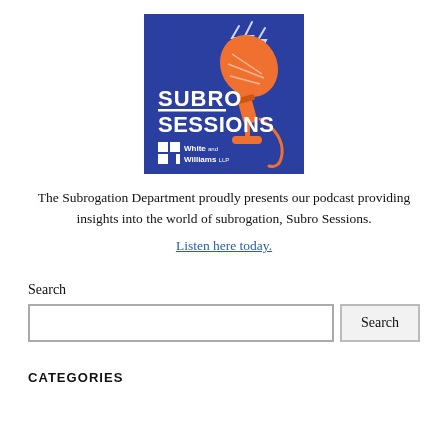[Figure (logo): Subro Sessions podcast logo — blue square background with an orange illustrated microphone and lightning bolts; text reads 'SUBRO SESSIONS' and 'White and Williams LLP']
The Subrogation Department proudly presents our podcast providing insights into the world of subrogation, Subro Sessions.
Listen here today.
Search
CATEGORIES